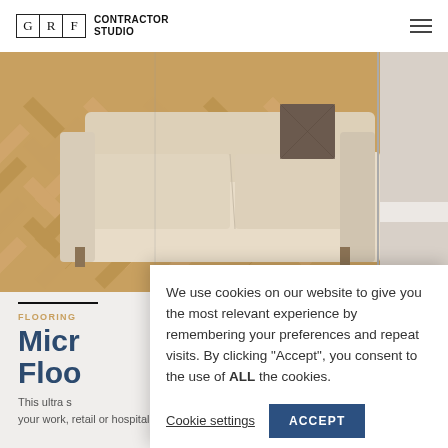GRF CONTRACTOR STUDIO
[Figure (photo): Hero image showing a beige sofa on herringbone oak parquet flooring, partially cropped. A decorative pillow is visible. The image spans the full width with a second image partially visible on the right edge.]
FLOORING
Micr
Floo
This ultra s
your work, retail or hospitality space from the
We use cookies on our website to give you the most relevant experience by remembering your preferences and repeat visits. By clicking "Accept", you consent to the use of ALL the cookies.
Cookie settings
ACCEPT